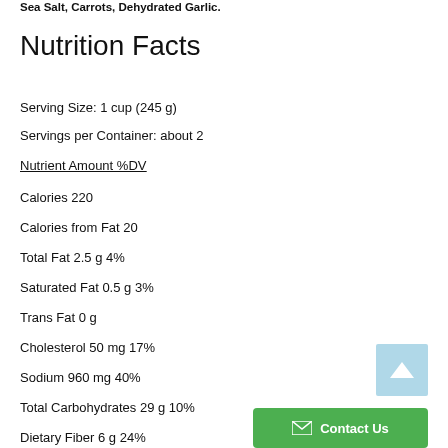Sea Salt, Carrots, Dehydrated Garlic.
Nutrition Facts
Serving Size: 1 cup (245 g)
Servings per Container: about 2
Nutrient Amount %DV
Calories 220
Calories from Fat 20
Total Fat 2.5 g 4%
Saturated Fat 0.5 g 3%
Trans Fat 0 g
Cholesterol 50 mg 17%
Sodium 960 mg 40%
Total Carbohydrates 29 g 10%
Dietary Fiber 6 g 24%